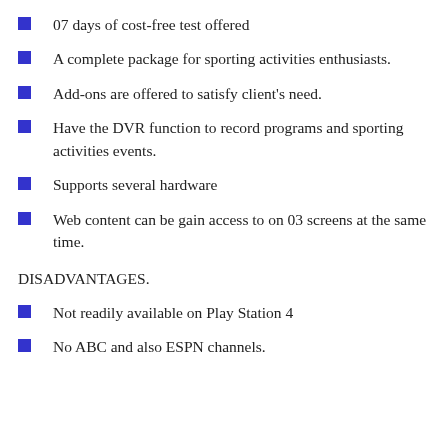07 days of cost-free test offered
A complete package for sporting activities enthusiasts.
Add-ons are offered to satisfy client's need.
Have the DVR function to record programs and sporting activities events.
Supports several hardware
Web content can be gain access to on 03 screens at the same time.
DISADVANTAGES.
Not readily available on Play Station 4
No ABC and also ESPN channels.